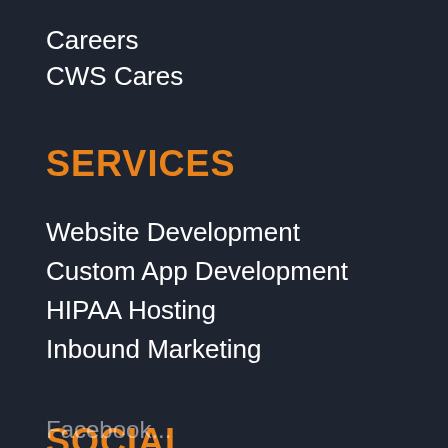Careers
CWS Cares
SERVICES
Website Development
Custom App Development
HIPAA Hosting
Inbound Marketing
SOCIAL
Facebook